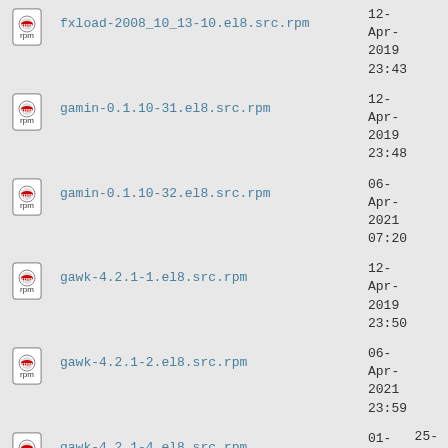fxload-2008_10_13-10.el8.src.rpm  12-Apr-2019 23:43
gamin-0.1.10-31.el8.src.rpm  12-Apr-2019 23:48
gamin-0.1.10-32.el8.src.rpm  06-Apr-2021 07:20
gawk-4.2.1-1.el8.src.rpm  12-Apr-2019 23:50
gawk-4.2.1-2.el8.src.rpm  06-Apr-2021 23:59
gawk-4.2.1-4.el8.src.rpm  01-Apr-2022 10:20
gcab-1.1-1.el8.src.rpm  12-Apr-2019 23:25
25-